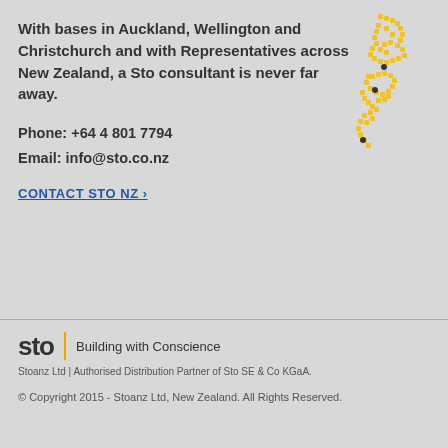With bases in Auckland, Wellington and Christchurch and with Representatives across New Zealand, a Sto consultant is never far away.
Phone: +64 4 801 7794
Email: info@sto.co.nz
CONTACT STO NZ ›
[Figure (logo): Masterspec Product Partner badge with black header and handshake icon]
[Figure (map): Dotted yellow map of New Zealand with location dots]
[Figure (logo): Sto logo with yellow divider line and 'Building with Conscience' tagline]
Stoanz Ltd | Authorised Distribution Partner of Sto SE & Co KGaA.
© Copyright 2015 - Stoanz Ltd, New Zealand. All Rights Reserved.